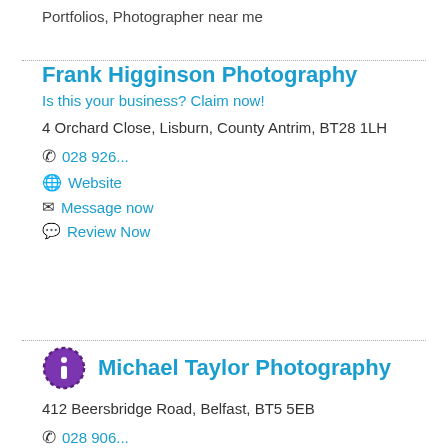Portfolios, Photographer near me
Frank Higginson Photography
Is this your business? Claim now!
4 Orchard Close, Lisburn, County Antrim, BT28 1LH
028 926...
Website
Message now
Review Now
Michael Taylor Photography
412 Beersbridge Road, Belfast, BT5 5EB
028 906...
Website